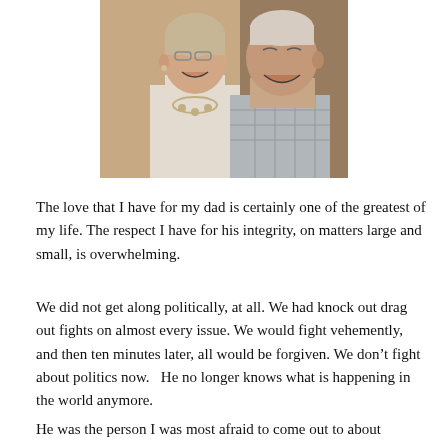[Figure (photo): Two elderly people, a woman and a man, laughing and smiling together. The woman has short light hair and is wearing a white top with a necklace. The man has white/gray hair. A younger person is visible in the background.]
The love that I have for my dad is certainly one of the greatest of my life.  The respect I have for his integrity, on matters large and small, is overwhelming.
We did not get along politically, at all.  We had knock out drag out fights on almost every issue.  We would fight vehemently, and then ten minutes later, all would be forgiven.  We don't fight about politics now.   He no longer knows what is happening in the world anymore.
He was the person I was most afraid to come out to about